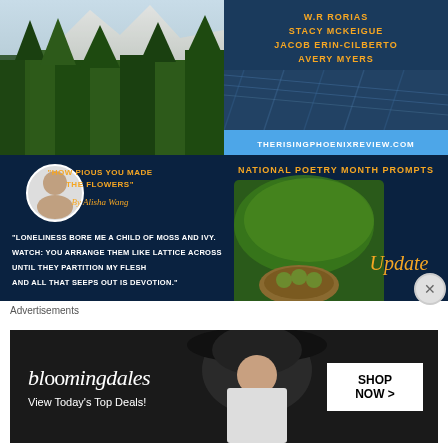[Figure (photo): Forest with snow-capped mountains in background, top-left cell]
[Figure (photo): Blue background literary magazine with text W.R. Rorias, Jacob Erin-Cilberto, Stacy McKeigue, Avery Myers and THERISINGPHOENIXREVIEW.COM banner]
[Figure (other): Dark blue poetry card: How Pious You Made The Flowers by Alisha Wong with poem excerpt and THERISINGPHOENIXREVIEW.COM footer]
[Figure (other): National Poetry Month Prompts Update card with bird nest in leaf photo and Rising Phoenix Review footer]
[Figure (other): Dark blue poetry card: A Star Is Born In Plainfield by Tylie Shider with poem excerpt]
[Figure (photo): Sky with clouds and snow-capped mountains with trees]
Advertisements
[Figure (other): Bloomingdales advertisement: View Today's Top Deals! SHOP NOW >]